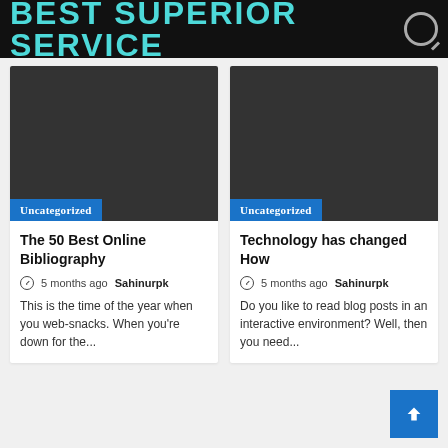BEST SUPERIOR SERVICE
[Figure (photo): Dark gray placeholder image for blog post 1, with Uncategorized badge]
The 50 Best Online Bibliography
5 months ago  Sahinurpk
This is the time of the year when you web-snacks. When you're down for the...
[Figure (photo): Dark gray placeholder image for blog post 2, with Uncategorized badge]
Technology has changed How
5 months ago  Sahinurpk
Do you like to read blog posts in an interactive environment? Well, then you need...